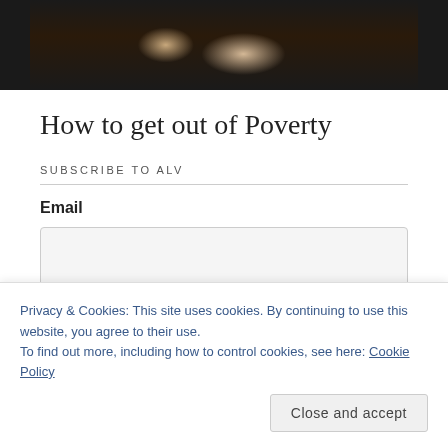[Figure (photo): A person in a hoodie photographed against a dark background, upper body shot with hands near face/chin]
How to get out of Poverty
SUBSCRIBE TO ALV
Email
Privacy & Cookies: This site uses cookies. By continuing to use this website, you agree to their use.
To find out more, including how to control cookies, see here: Cookie Policy